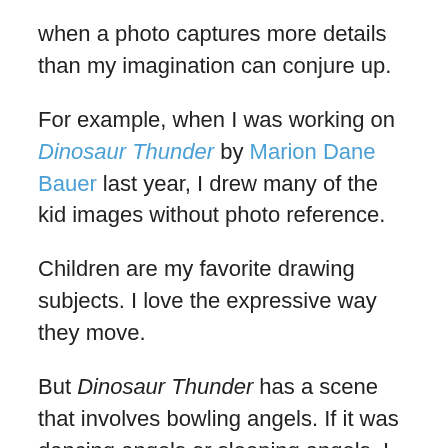when a photo captures more details than my imagination can conjure up.
For example, when I was working on Dinosaur Thunder by Marion Dane Bauer last year, I drew many of the kid images without photo reference.
Children are my favorite drawing subjects. I love the expressive way they move.
But Dinosaur Thunder has a scene that involves bowling angels. If it was dancing angels or sleeping angels, I could probably have managed it, but bowling is not really my thing.
So I invited my friend Todd, a former bowling team member, and his kids to join me and mine at to our local bowling alley. I was able to get some valuable shots that